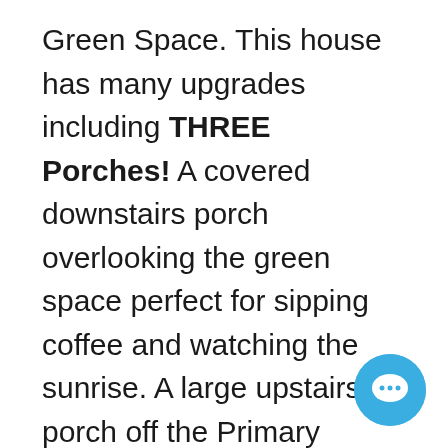Green Space. This house has many upgrades including THREE Porches! A covered downstairs porch overlooking the green space perfect for sipping coffee and watching the sunrise. A large upstairs porch off the Primary bedroom also overlooking the green space with amazing views of Sleeping Indian. The third porch is located off the back bedroom with sweeping views of the collegiate peaks. This model features all three bedrooms upstairs so the downstairs is reserved for entertaining and family space. Walk into a large open living room space which could be used for multiple sitting areas, a desk, mudroom entrance or a number of other
[Figure (illustration): Blue circular chat bubble icon with white speech bubble symbol, positioned in the bottom-right corner]